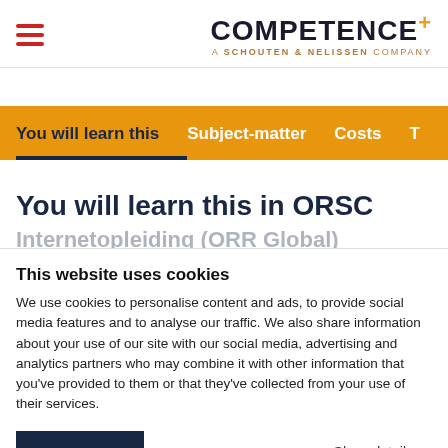COMPETENCE+ A SCHOUTEN & NELISSEN COMPANY
You will learn this  Subject-matter  Costs  T
You will learn this in ORSC
This website uses cookies
We use cookies to personalise content and ads, to provide social media features and to analyse our traffic. We also share information about your use of our site with our social media, advertising and analytics partners who may combine it with other information that you've provided to them or that they've collected from your use of their services.
OK  Show details